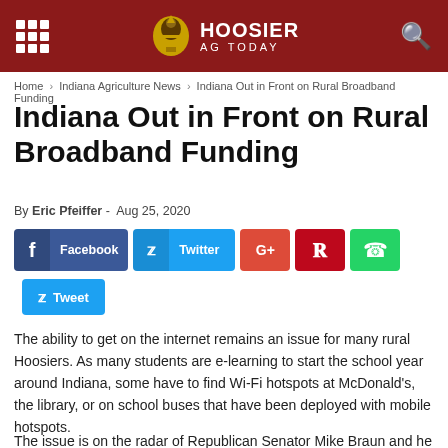Hoosier Ag Today
Home › Indiana Agriculture News › Indiana Out in Front on Rural Broadband Funding
Indiana Out in Front on Rural Broadband Funding
By Eric Pfeiffer - Aug 25, 2020
[Figure (other): Social sharing buttons: Facebook, Twitter, Google+, Pinterest, WhatsApp, and Tweet]
The ability to get on the internet remains an issue for many rural Hoosiers. As many students are e-learning to start the school year around Indiana, some have to find Wi-Fi hotspots at McDonald's, the library, or on school buses that have been deployed with mobile hotspots.
The issue is on the radar of Republican Senator Mike Braun and he